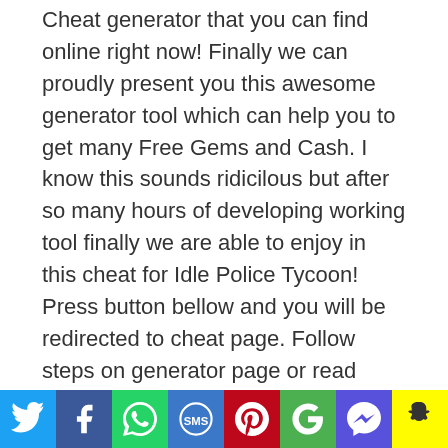Cheat generator that you can find online right now! Finally we can proudly present you this awesome generator tool which can help you to get many Free Gems and Cash. I know this sounds ridicilous but after so many hours of developing working tool finally we are able to enjoy in this cheat for Idle Police Tycoon! Press button bellow and you will be redirected to cheat page. Follow steps on generator page or read whole blog post bellow to find out how to hack Idle Police Tycoon and get Gems and Cash!
How to use Idle Police Tycoon Hack
If you are still reading then you want to get some quick info on how to use this hack so I will try to describe your process in few words. It's never been easier to get some
[Figure (infographic): Social sharing bar with icons for Twitter, Facebook, WhatsApp, SMS, Pinterest, Google, Messenger, and Snapchat]